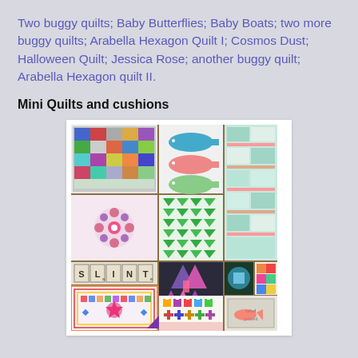Two buggy quilts; Baby Butterflies; Baby Boats; two more buggy quilts; Arabella Hexagon Quilt I; Cosmos Dust; Halloween Quilt; Jessica Rose; another buggy quilt; Arabella Hexagon quilt II.
Mini Quilts and cushions
[Figure (photo): A collage of mini quilts and cushions showing various quilt patterns including colorful patchwork, whale design, geometric patterns, scrabble tile letters spelling SLINT, star patterns, plus sign patterns, and other decorative quilted items in various colors.]